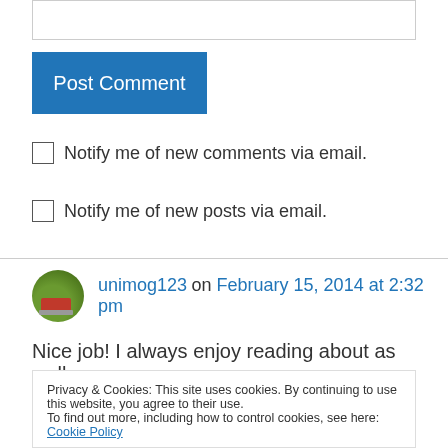[input box]
Post Comment
Notify me of new comments via email.
Notify me of new posts via email.
unimog123 on February 15, 2014 at 2:32 pm
Nice job! I always enjoy reading about as well as
Privacy & Cookies: This site uses cookies. By continuing to use this website, you agree to their use.
To find out more, including how to control cookies, see here: Cookie Policy
Close and accept
Reply